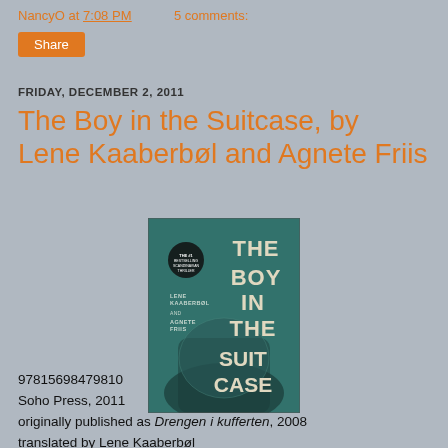NancyO at 7:08 PM    5 comments:
Share
FRIDAY, DECEMBER 2, 2011
The Boy in the Suitcase, by Lene Kaaberbøl and Agnete Friis
[Figure (photo): Book cover of 'The Boy in the Suitcase' by Lene Kaaberbøl and Agnete Friis — teal/green cover with large white block letters]
97815698479810
Soho Press, 2011
originally published as Drengen i kufferten, 2008
translated by Lene Kaaberbøl
212 pp.